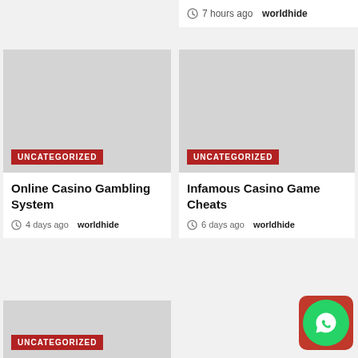7 hours ago  worldhide
[Figure (photo): Gray placeholder image for left card with Uncategorized red badge]
Online Casino Gambling System
4 days ago  worldhide
[Figure (photo): Gray placeholder image for right card with Uncategorized red badge]
Infamous Casino Game Cheats
6 days ago  worldhide
[Figure (photo): Partial gray placeholder image at bottom left]
[Figure (other): WhatsApp button icon at bottom right]